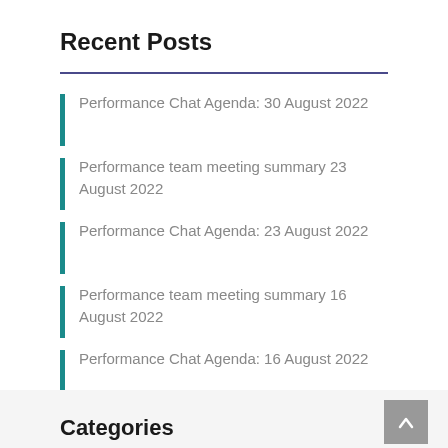Recent Posts
Performance Chat Agenda: 30 August 2022
Performance team meeting summary 23 August 2022
Performance Chat Agenda: 23 August 2022
Performance team meeting summary 16 August 2022
Performance Chat Agenda: 16 August 2022
Categories